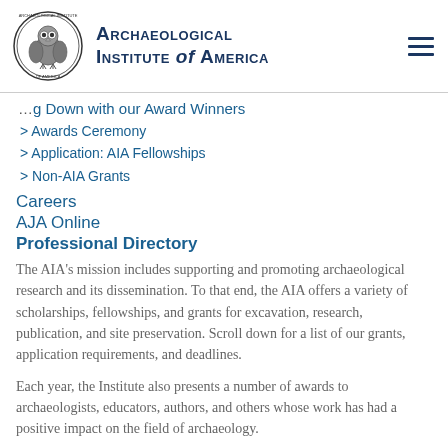[Figure (logo): Archaeological Institute of America circular seal with owl]
Archaeological Institute of America
g Down with our Award Winners
> Awards Ceremony
> Application: AIA Fellowships
> Non-AIA Grants
Careers
AJA Online
Professional Directory
The AIA's mission includes supporting and promoting archaeological research and its dissemination. To that end, the AIA offers a variety of scholarships, fellowships, and grants for excavation, research, publication, and site preservation. Scroll down for a list of our grants, application requirements, and deadlines.
Each year, the Institute also presents a number of awards to archaeologists, educators, authors, and others whose work has had a positive impact on the field of archaeology.